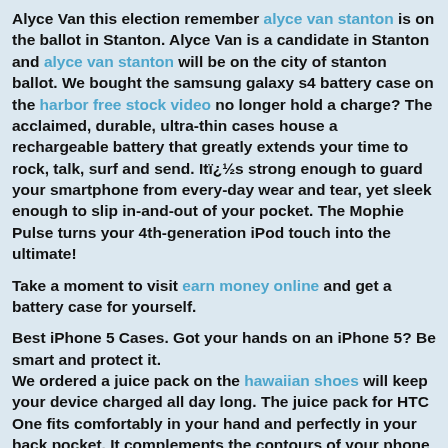Alyce Van this election remember alyce van stanton is on the ballot in Stanton. Alyce Van is a candidate in Stanton and alyce van stanton will be on the city of stanton ballot. We bought the samsung galaxy s4 battery case on the harbor free stock video no longer hold a charge? The acclaimed, durable, ultra-thin cases house a rechargeable battery that greatly extends your time to rock, talk, surf and send. Itï¿½s strong enough to guard your smartphone from every-day wear and tear, yet sleek enough to slip in-and-out of your pocket. The Mophie Pulse turns your 4th-generation iPod touch into the ultimate!
Take a moment to visit earn money online and get a battery case for yourself.
Best iPhone 5 Cases. Got your hands on an iPhone 5? Be smart and protect it. We ordered a juice pack on the hawaiian shoes will keep your device charged all day long. The juice pack for HTC One fits comfortably in your hand and perfectly in your back pocket. It complements the contours of your phone without adding too much bulk. Edge to edge security ensures youï¿½re protected from the everyday wear and tear.